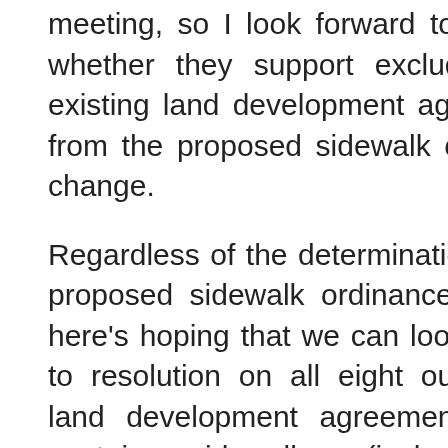meeting, so I look forward to learning whether they support excluding pre-existing land development agreements from the proposed sidewalk ordinance change.
Regardless of the determination on the proposed sidewalk ordinance change, here's hoping that we can look forward to resolution on all eight outstanding land development agreements which contain sidewalks (including St. Davids!).
On August 2, I wrote "Tredyffrin Township Needs an Economic 'Call for Action' from its Elected Officials". The post discussed the township's economic climate, closing of local businesses and